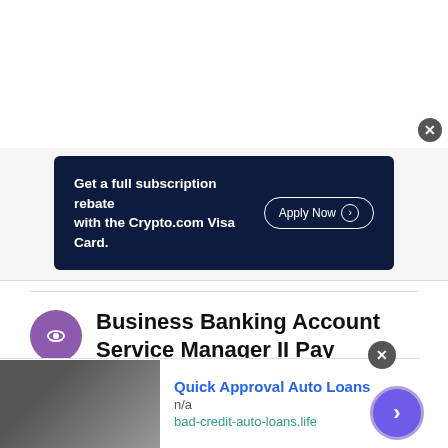[Figure (screenshot): Advertisement banner: white area at top of page with close button]
[Figure (screenshot): Crypto.com Visa Card banner ad on dark navy background with 'Get a full subscription rebate with the Crypto.com Visa Card.' and 'Apply Now' button]
Business Banking Account Service Manager II Pay Difference by Cities
Shanghai, CN
+ 18.3%
This site uses cookies and other similar technologies to provide site functionality, analyze traffic and usage, and
[Figure (screenshot): Bottom advertisement: Quick Approval Auto Loans, n/a, bad-credit-auto-loans.life with car image and navigation arrow]